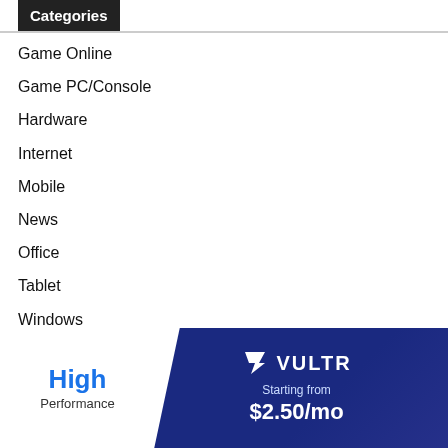Categories
Game Online
Game PC/Console
Hardware
Internet
Mobile
News
Office
Tablet
Windows
[Figure (infographic): Vultr advertisement banner: 'High Performance' on left, Vultr logo with 'Starting from $2.50/mo' on dark blue background on right]